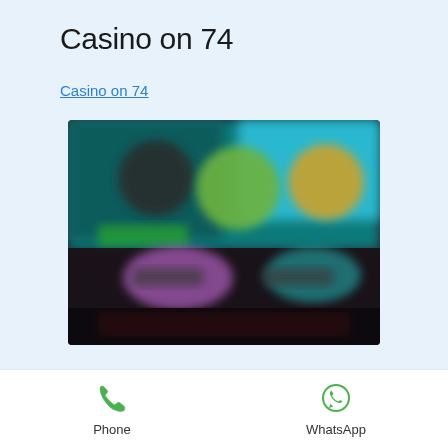Casino on 74
Casino on 74
[Figure (screenshot): Blurred screenshot of Casino on 74 website showing colorful animated game characters on teal/dark background]
Phone
WhatsApp